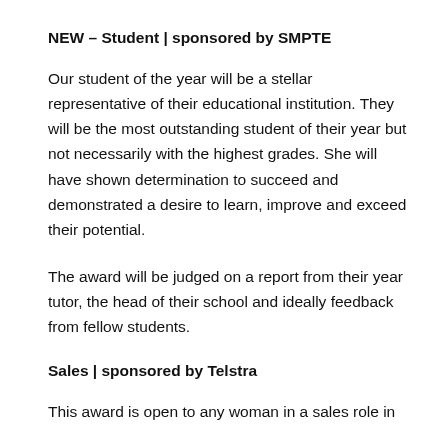NEW – Student | sponsored by SMPTE
Our student of the year will be a stellar representative of their educational institution. They will be the most outstanding student of their year but not necessarily with the highest grades. She will have shown determination to succeed and demonstrated a desire to learn, improve and exceed their potential.
The award will be judged on a report from their year tutor, the head of their school and ideally feedback from fellow students.
Sales | sponsored by Telstra
This award is open to any woman in a sales role in